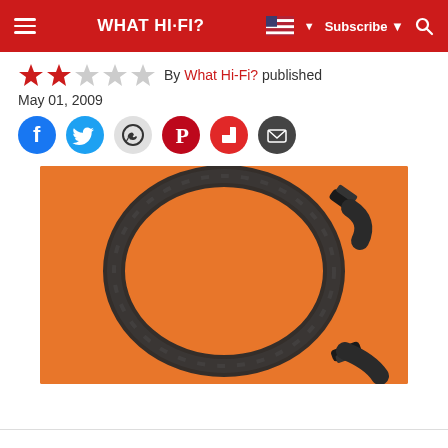WHAT HI-FI? | Subscribe
By What Hi-Fi? published
May 01, 2009
[Figure (photo): Dark coiled audio cable with connectors on both ends, photographed on an orange background]
Social sharing icons: Facebook, Twitter, WhatsApp, Pinterest, Flipboard, Email